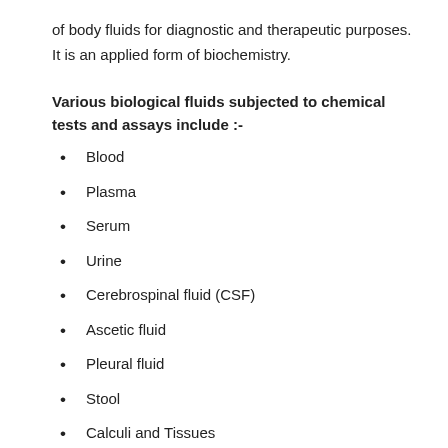of body fluids for diagnostic and therapeutic purposes. It is an applied form of biochemistry.
Various biological fluids subjected to chemical tests and assays include :-
Blood
Plasma
Serum
Urine
Cerebrospinal fluid (CSF)
Ascetic fluid
Pleural fluid
Stool
Calculi and Tissues
Gastric juices
Saliva
Amniotic fluid.